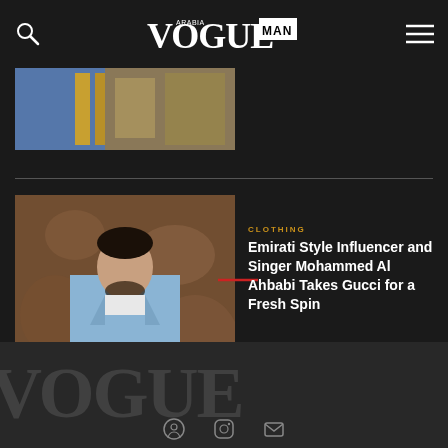VOGUE MAN
[Figure (photo): Partial top image strip showing interior scene with blue and gold tones]
[Figure (photo): Man in light blue suit jacket and white t-shirt standing in front of ornate tapestry background — Mohammed Al Ahbabi]
CLOTHING
Emirati Style Influencer and Singer Mohammed Al Ahbabi Takes Gucci for a Fresh Spin
[Figure (logo): VOGUE watermark letters partially visible in footer area]